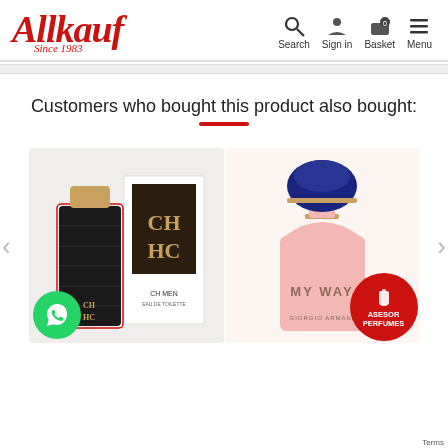Allkauf Since 1983 — Search, Sign in, Basket, Menu
Customers who bought this product also bought:
[Figure (photo): Product image of CH HC Carolina Herrera men's cologne bottle with box]
[Figure (photo): Product image of Giorgio Armani My Way perfume bottle]